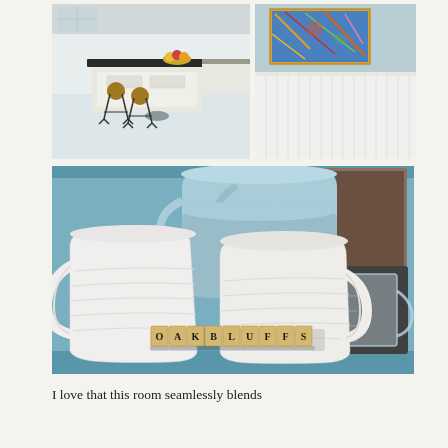[Figure (photo): Two side-by-side photos: left shows a kitchen with a black-topped island and two industrial bar stools; right shows a room wall with white beadboard wainscoting and a colorful abstract artwork above.]
[Figure (photo): A close-up photo of white ribbed mugs stacked on a light blue shelf, with Scrabble tiles spelling 'OAK BLUFFS' in front, and a glass measuring cup on the right.]
I love that this room seamlessly blends